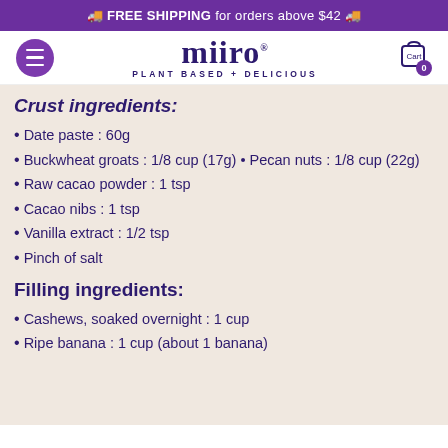🚚 FREE SHIPPING for orders above $42 🚚
[Figure (logo): Miiro logo with hamburger menu and shopping cart]
Crust ingredients:
Date paste : 60g
Buckwheat groats : 1/8 cup (17g) • Pecan nuts : 1/8 cup (22g)
Raw cacao powder : 1 tsp
Cacao nibs : 1 tsp
Vanilla extract : 1/2 tsp
Pinch of salt
Filling ingredients:
Cashews, soaked overnight : 1 cup
Ripe banana : 1 cup (about 1 banana)